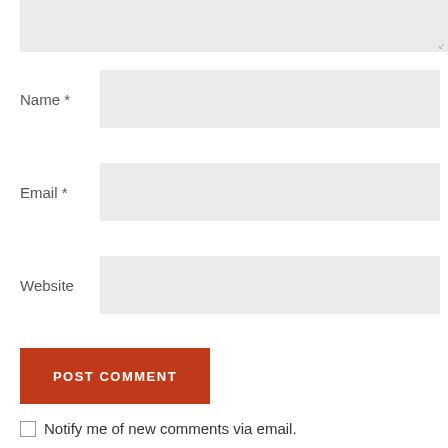[Figure (screenshot): Top portion of a textarea input field with a resize handle in the bottom-right corner, background light gray]
Name *
[Figure (screenshot): Name input field, light gray background]
Email *
[Figure (screenshot): Email input field, light gray background]
Website
[Figure (screenshot): Website input field, light gray background]
POST COMMENT
Notify me of new comments via email.
Notify me of new posts via email.